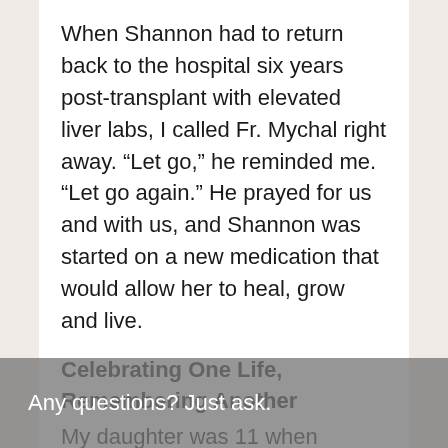When Shannon had to return back to the hospital six years post-transplant with elevated liver labs, I called Fr. Mychal right away. “Let go,” he reminded me. “Let go again.” He prayed for us and with us, and Shannon was started on a new medication that would allow her to heal, grow and live.
Celebrating One Life, Remembering Another
My daughter was 11 when Mychal died. She had a framed photo of him in her bedroom and knew his prayers and presence in her life were integral parts of who she was, of who she would become. And amidst overwhelming
Any questions? Just ask.